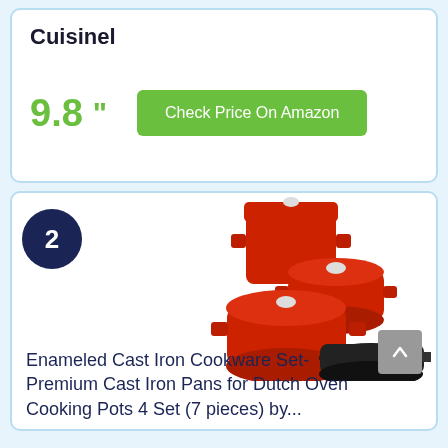Cuisinel
9.8 "
Check Price On Amazon
2
[Figure (photo): Set of red enameled cast iron cookware including three pots with lids of varying sizes and a black cast iron skillet]
Enameled Cast Iron Cookware Set- Premium Cast Iron Pans for Dutch Oven Cooking Pots 4 Set (7 pieces) by...